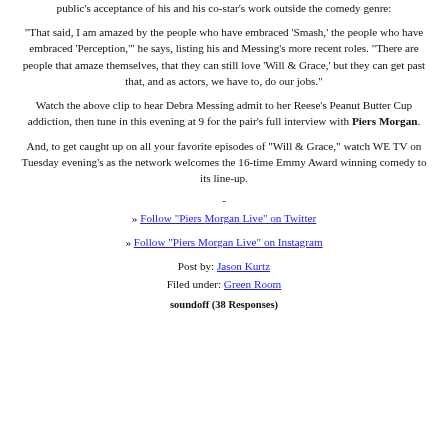public's acceptance of his and his co-star's work outside the comedy genre:
"That said, I am amazed by the people who have embraced 'Smash,' the people who have embraced 'Perception,'" he says, listing his and Messing's more recent roles. "There are people that amaze themselves, that they can still love 'Will & Grace,' but they can get past that, and as actors, we have to, do our jobs."
Watch the above clip to hear Debra Messing admit to her Reese's Peanut Butter Cup addiction, then tune in this evening at 9 for the pair's full interview with Piers Morgan.
And, to get caught up on all your favorite episodes of "Will & Grace," watch WE TV on Tuesday evening's as the network welcomes the 16-time Emmy Award winning comedy to its line-up.
-
» Follow "Piers Morgan Live" on Twitter
» Follow "Piers Morgan Live" on Instagram
Post by: Jason Kurtz
Filed under: Green Room
soundoff (38 Responses)